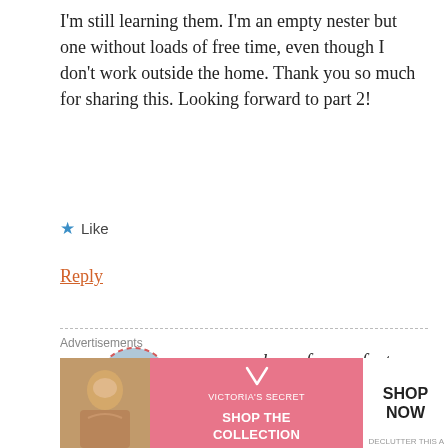I'm still learning them. I'm an empty nester but one without loads of free time, even though I don't work outside the home. Thank you so much for sharing this. Looking forward to part 2!
★ Like
Reply
comehomeforcomfort
OCTOBER 17, 2016 AT 8:14 PM
I think that it's important to let other women know you don't have to be home...
Advertisements
[Figure (infographic): Victoria's Secret advertisement banner with pink background, model photo, VS logo, 'SHOP THE COLLECTION' text, and 'SHOP NOW' button]